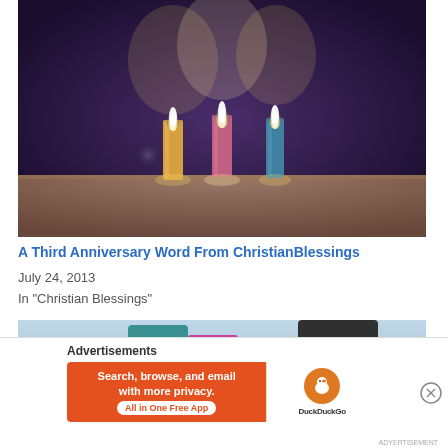[Figure (photo): Three lit birthday candles (yellow, pink, blue) on a cake against a dark purple background]
A Third Anniversary Word From ChristianBlessings
July 24, 2013
In "Christian Blessings"
[Figure (photo): Partial view of children wearing colorful winter clothes outdoors]
Advertisements
[Figure (screenshot): DuckDuckGo advertisement banner: Search, browse, and email with more privacy. All in One Free App. DuckDuckGo logo.]